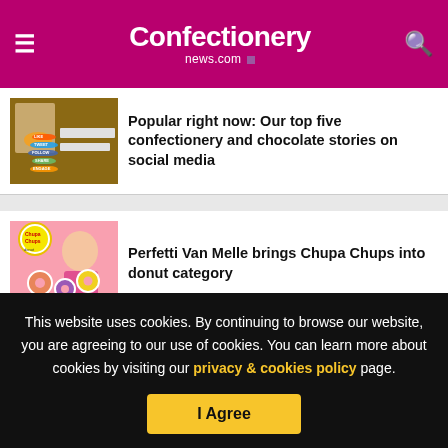Confectionery news.com
Popular right now: Our top five confectionery and chocolate stories on social media
Perfetti Van Melle brings Chupa Chups into donut category
This website uses cookies. By continuing to browse our website, you are agreeing to our use of cookies. You can learn more about cookies by visiting our privacy & cookies policy page.